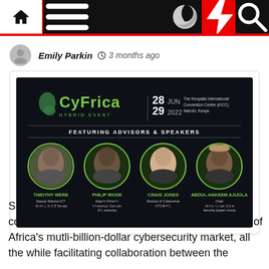Navigation bar with home, menu, dark mode, flash, and search icons
Emily Parkin  3 months ago
[Figure (infographic): CyFrica Hybrid Event banner, 28-29 JUN 2022, The Kenyatta International Convention Centre (KICC), Nairobi, Kenya. Featuring Advisors & Speakers: Timothy Were (Deputy Director ICT, Ministry of ICT Kenya), Philip Irode (Deputy Director Information Security, ICT Authority), Craig Jones (Director of Cybercrime, INTERPOL), Abdul-Hakeem Ajijola (Chair, African Union Cyber Security Expert Group).]
Summary: CyFrica 2022, a two-day cybersecurity conference, will acknowledge the burgeoning state of Africa's mutli-billion-dollar cybersecurity market, all the while facilitating collaboration between the